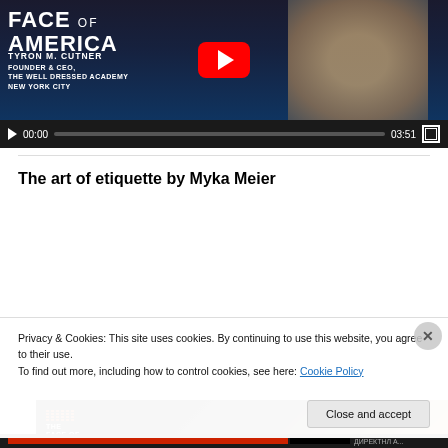[Figure (screenshot): YouTube video player showing 'Face of America' video featuring Tyron M. Cutner, Founder & CEO, The Well Dressed Academy, New York City. Controls show 00:00 / 03:51, paused state.]
The art of etiquette by Myka Meier
[Figure (screenshot): YouTube video thumbnail showing 'Successful people al...' title with The Face of America logo overlay and a three-dot menu icon.]
Privacy & Cookies: This site uses cookies. By continuing to use this website, you agree to their use.
To find out more, including how to control cookies, see here: Cookie Policy